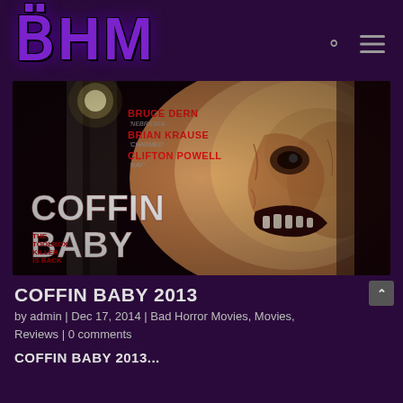BHM
[Figure (photo): Movie poster for Coffin Baby (2013) showing a grotesque monster face on the right half and cast names (Bruce Dern, Brian Krause, Clifton Powell) on the left with the title 'Coffin Baby' and tagline 'The Toolbox Killer Is Back']
COFFIN BABY 2013
by admin | Dec 17, 2014 | Bad Horror Movies, Movies, Reviews | 0 comments
COFFIN BABY 2013...